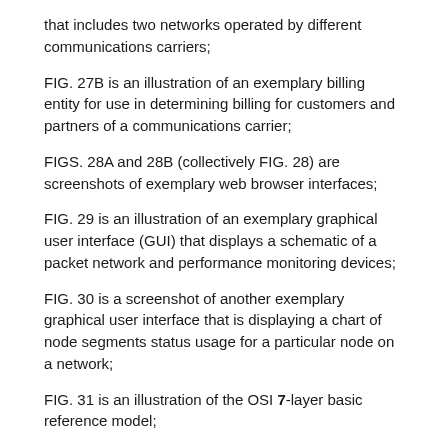that includes two networks operated by different communications carriers;
FIG. 27B is an illustration of an exemplary billing entity for use in determining billing for customers and partners of a communications carrier;
FIGS. 28A and 28B (collectively FIG. 28) are screenshots of exemplary web browser interfaces;
FIG. 29 is an illustration of an exemplary graphical user interface (GUI) that displays a schematic of a packet network and performance monitoring devices;
FIG. 30 is a screenshot of another exemplary graphical user interface that is displaying a chart of node segments status usage for a particular node on a network;
FIG. 31 is an illustration of the OSI 7-layer basic reference model;
FIG. 32 is an illustration of an example of an Operations, Administration, and Maintenance Entities depicting multiple administrative domains;